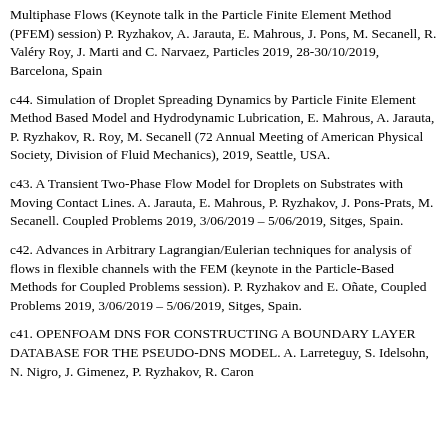Multiphase Flows (Keynote talk in the Particle Finite Element Method (PFEM) session) P. Ryzhakov, A. Jarauta, E. Mahrous, J. Pons, M. Secanell, R. Valéry Roy, J. Marti and C. Narvaez, Particles 2019, 28-30/10/2019, Barcelona, Spain
c44. Simulation of Droplet Spreading Dynamics by Particle Finite Element Method Based Model and Hydrodynamic Lubrication, E. Mahrous, A. Jarauta, P. Ryzhakov, R. Roy, M. Secanell (72 Annual Meeting of American Physical Society, Division of Fluid Mechanics), 2019, Seattle, USA.
c43. A Transient Two-Phase Flow Model for Droplets on Substrates with Moving Contact Lines. A. Jarauta, E. Mahrous, P. Ryzhakov, J. Pons-Prats, M. Secanell. Coupled Problems 2019, 3/06/2019 – 5/06/2019, Sitges, Spain.
c42. Advances in Arbitrary Lagrangian/Eulerian techniques for analysis of flows in flexible channels with the FEM (keynote in the Particle-Based Methods for Coupled Problems session). P. Ryzhakov and E. Oñate, Coupled Problems 2019, 3/06/2019 – 5/06/2019, Sitges, Spain.
c41. OPENFOAM DNS FOR CONSTRUCTING A BOUNDARY LAYER DATABASE FOR THE PSEUDO-DNS MODEL. A. Larreteguy, S. Idelsohn, N. Nigro, J. Gimenez, P. Ryzhakov, R. Caron